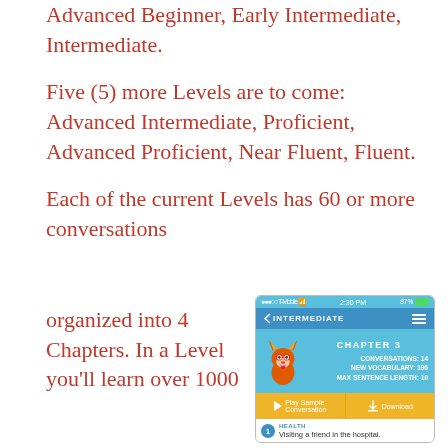Advanced Beginner, Early Intermediate, Intermediate.
Five (5) more Levels are to come: Advanced Intermediate, Proficient, Advanced Proficient, Near Fluent, Fluent.
Each of the current Levels has 60 or more conversations organized into 4 Chapters. In a Level you'll learn over 1000
[Figure (screenshot): Mobile app screenshot showing INTERMEDIATE level navigation bar, CHAPTER 3 with a fox mascot, stats showing CONVERSATIONS: 14, NEW VOCABULARY: 196, MAX SENTENCE LENGTH: 10, and buttons for Play Sample Conversation and Download. Below is a HEALTH category item: Visiting a friend in the hospital.]